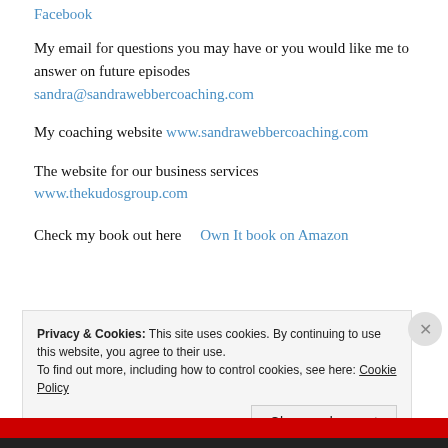Facebook
My email for questions you may have or you would like me to answer on future episodes
sandra@sandrawebbercoaching.com
My coaching website www.sandrawebbercoaching.com
The website for our business services
www.thekudosgroup.com
Check my book out here   Own It book on Amazon
Privacy & Cookies: This site uses cookies. By continuing to use this website, you agree to their use. To find out more, including how to control cookies, see here: Cookie Policy
Close and accept